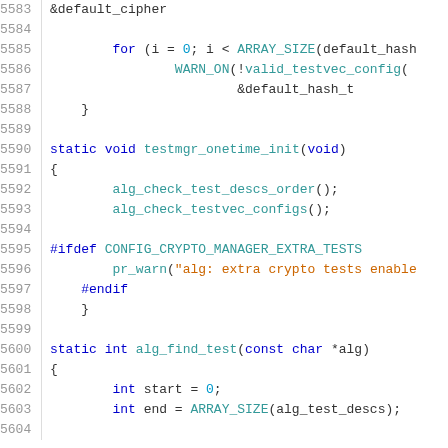[Figure (screenshot): Source code listing lines 5583-5604 of a C file showing cryptographic test manager initialization functions]